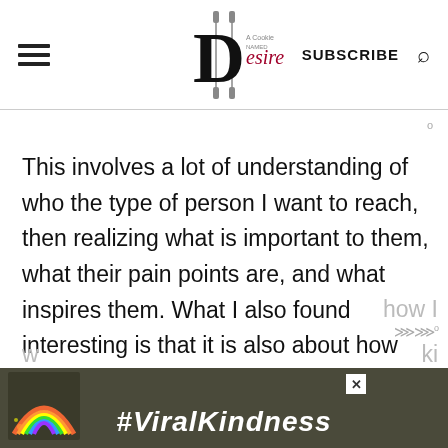A Cookie Named Desire — SUBSCRIBE [search icon]
This involves a lot of understanding of who the type of person I want to reach, then realizing what is important to them, what their pain points are, and what inspires them. What I also found interesting is that it is also about how much I am inspired as well. There is the point where I and my audience intersect
[Figure (infographic): Advertisement banner with rainbow graphic and text #ViralKindness on dark background with an X close button]